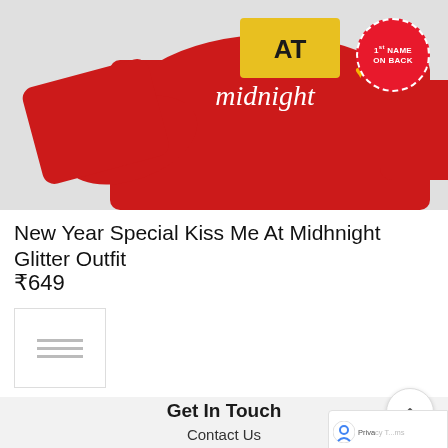[Figure (photo): Red children's sweater/outfit with 'AT midnight' text on it, displayed on a light grey background. A red circular badge with dashed white border reads '1st NAME ON BACK'.]
New Year Special Kiss Me At Midhnight Glitter Outfit
₹649
[Figure (photo): Small thumbnail image of the same red outfit product]
Get In Touch
Contact Us
+91 93728 51546
helpknitroot@gmail.com
teamknitroot@gmail.com
Follow Us On